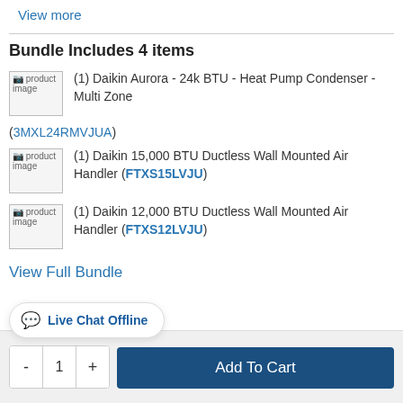View more
Bundle Includes 4 items
(1) Daikin Aurora - 24k BTU - Heat Pump Condenser - Multi Zone (3MXL24RMVJUA)
(1) Daikin 15,000 BTU Ductless Wall Mounted Air Handler (FTXS15LVJU)
(1) Daikin 12,000 BTU Ductless Wall Mounted Air Handler (FTXS12LVJU)
View Full Bundle
Live Chat Offline
- 1 + Add To Cart